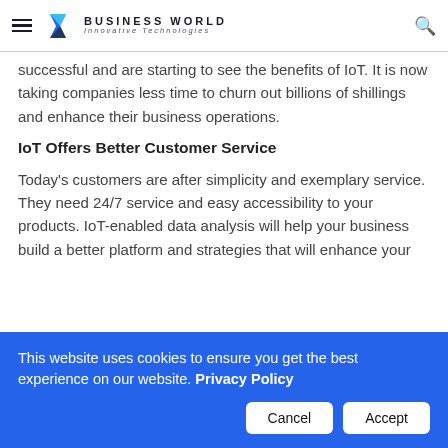Business World – Innovative Technologies
successful and are starting to see the benefits of IoT. It is now taking companies less time to churn out billions of shillings and enhance their business operations.
IoT Offers Better Customer Service
Today's customers are after simplicity and exemplary service. They need 24/7 service and easy accessibility to your products. IoT-enabled data analysis will help your business build a better platform and strategies that will enhance your
This website uses cookies to ensure you get the best experience on our website. Privacy Policy